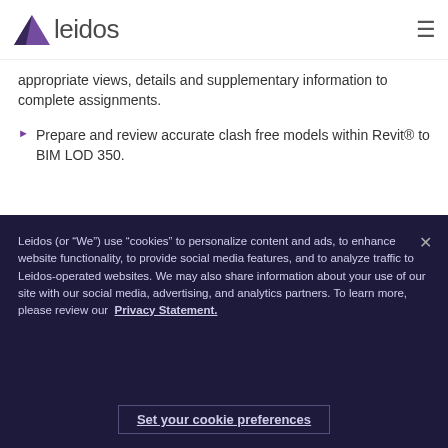leidos
appropriate views, details and supplementary information to complete assignments.
Prepare and review accurate clash free models within Revit® to BIM LOD 350.
Leidos (or “We”) use “cookies” to personalize content and ads, to enhance website functionality, to provide social media features, and to analyze traffic to Leidos-operated websites. We may also share information about your use of our site with our social media, advertising, and analytics partners. To learn more, please review our Privacy Statement.
Set your cookie preferences